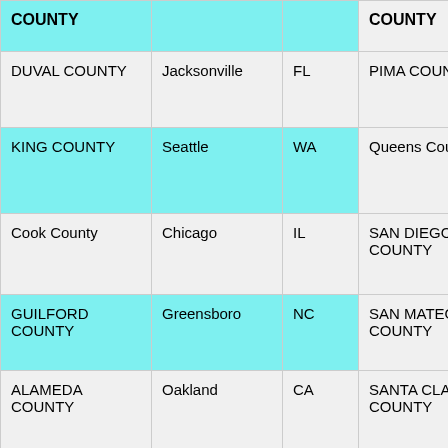| COUNTY | City | State | COUNTY | City |
| --- | --- | --- | --- | --- |
| COUNTY |  |  | COUNTY |  |
| DUVAL COUNTY | Jacksonville | FL | PIMA COUNTY | Tu... |
| KING COUNTY | Seattle | WA | Queens County | Qu... |
| Cook County | Chicago | IL | SAN DIEGO COUNTY | Sa... |
| GUILFORD COUNTY | Greensboro | NC | SAN MATEO COUNTY |  |
| ALAMEDA COUNTY | Oakland | CA | SANTA CLARA COUNTY | Sa... |
| JACKSON COUNTY | SE Kansas City | MO | SONOMA COUNTY | Sa... |
| ORANGE COUNTY | Orlando | FL | ST. LOUIS COUNTY | St... |
| UNION COUNTY | Near Newark | NJ | STANISLAUS COUNTY | Mo... |